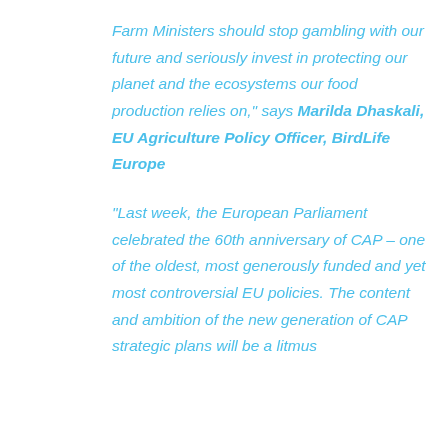Farm Ministers should stop gambling with our future and seriously invest in protecting our planet and the ecosystems our food production relies on," says Marilda Dhaskali, EU Agriculture Policy Officer, BirdLife Europe
"Last week, the European Parliament celebrated the 60th anniversary of CAP – one of the oldest, most generously funded and yet most controversial EU policies. The content and ambition of the new generation of CAP strategic plans will be a litmus